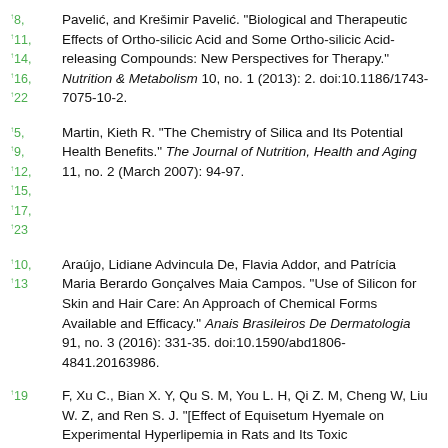↑8, ↑11, ↑14, ↑16, ↑22 Pavelić, and Krešimir Pavelić. "Biological and Therapeutic Effects of Ortho-silicic Acid and Some Ortho-silicic Acid-releasing Compounds: New Perspectives for Therapy." Nutrition & Metabolism 10, no. 1 (2013): 2. doi:10.1186/1743-7075-10-2.
↑5, ↑9, ↑12, ↑15, ↑17, ↑23 Martin, Kieth R. "The Chemistry of Silica and Its Potential Health Benefits." The Journal of Nutrition, Health and Aging 11, no. 2 (March 2007): 94-97.
↑10, ↑13 Araújo, Lidiane Advincula De, Flavia Addor, and Patrícia Maria Berardo Gonçalves Maia Campos. "Use of Silicon for Skin and Hair Care: An Approach of Chemical Forms Available and Efficacy." Anais Brasileiros De Dermatologia 91, no. 3 (2016): 331-35. doi:10.1590/abd1806-4841.20163986.
↑19 F, Xu C., Bian X. Y, Qu S. M, You L. H, Qi Z. M, Cheng W, Liu W. Z, and Ren S. J. "[Effect of Equisetum Hyemale on Experimental Hyperlipemia in Rats and Its Toxic Test]"...